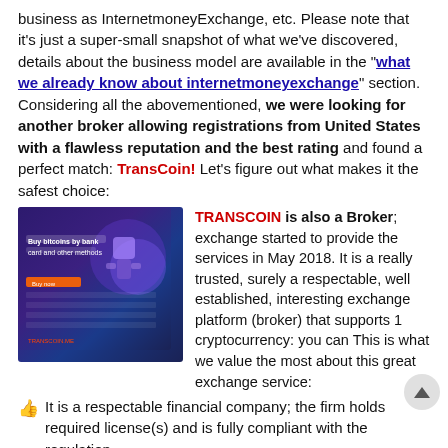business as InternetmoneyExchange, etc. Please note that it's just a super-small snapshot of what we've discovered, details about the business model are available in the "what we already know about internetmoneyexchange" section. Considering all the abovementioned, we were looking for another broker allowing registrations from United States with a flawless reputation and the best rating and found a perfect match: TransCoin! Let's figure out what makes it the safest choice:
[Figure (screenshot): Screenshot of TransCoin website showing 'Buy bitcoins by bank card and other methods' with a colorful interface]
TRANSCOIN is also a Broker; exchange started to provide the services in May 2018. It is a really trusted, surely a respectable, well established, interesting exchange platform (broker) that supports 1 cryptocurrency: you can This is what we value the most about this great exchange service:
It is a respectable financial company; the firm holds required license(s) and is fully compliant with the regulation
The business model of an exchange broker doesn't require to store the customers' money, there are no accounts, etc. The crypto (or fiat) payment will be instantly delivered to a wallet (bank or fiat payment system) of your choice
The exchange runs the business for a long time; project was started 4 years and 3 months ago
TransCoin accepts the registrations from 255...